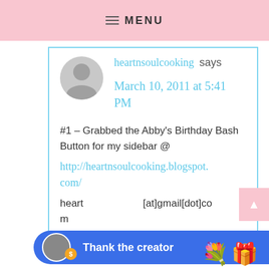MENU
heartnsouldcooking says
March 10, 2011 at 5:41 PM
#1 – Grabbed the Abby's Birthday Bash Button for my sidebar @
http://heartnsoulcooking.blogspot.com/
heartnsoulcooking[at]gmail[dot]com